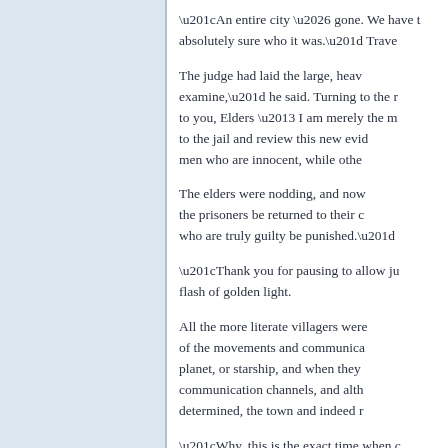“An entire city … gone. We have to be absolutely sure who it was.” Trave...
The judge had laid the large, heavy... examine,” he said. Turning to the ... to you, Elders – I am merely the m... to the jail and review this new evid... men who are innocent, while othe...
The elders were nodding, and now... the prisoners be returned to their c... who are truly guilty be punished.”
“Thank you for pausing to allow ju... flash of golden light.
All the more literate villagers were... of the movements and communica... planet, or starship, and when they... communication channels, and alth... determined, the town and indeed ...
“Why, this is the exact time when c...